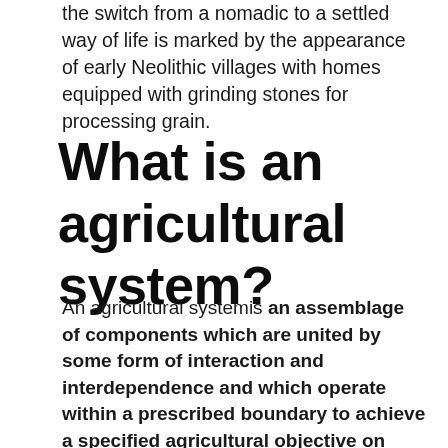the switch from a nomadic to a settled way of life is marked by the appearance of early Neolithic villages with homes equipped with grinding stones for processing grain.
What is an agricultural system?
An agricultural systemis an assemblage of components which are united by some form of interaction and interdependence and which operate within a prescribed boundary to achieve a specified agricultural objective on behalf of the beneficiaries of the system.